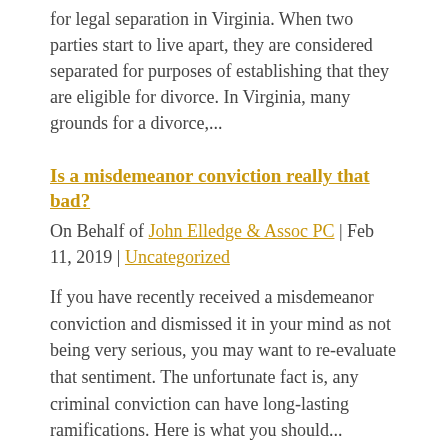for legal separation in Virginia. When two parties start to live apart, they are considered separated for purposes of establishing that they are eligible for divorce. In Virginia, many grounds for a divorce,...
Is a misdemeanor conviction really that bad?
On Behalf of John Elledge & Assoc PC | Feb 11, 2019 | Uncategorized
If you have recently received a misdemeanor conviction and dismissed it in your mind as not being very serious, you may want to re-evaluate that sentiment. The unfortunate fact is, any criminal conviction can have long-lasting ramifications. Here is what you should...
Criminal convictions can lead to deportation